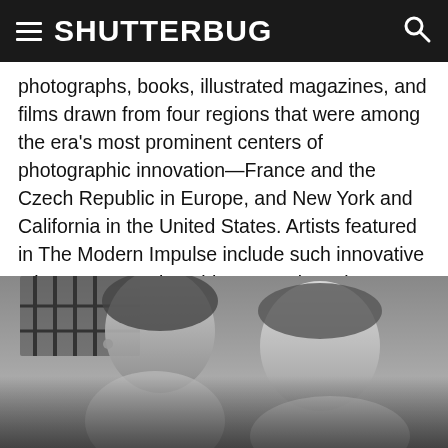SHUTTERBUG
photographs, books, illustrated magazines, and films drawn from four regions that were among the era's most prominent centers of photographic innovation—France and the Czech Republic in Europe, and New York and California in the United States. Artists featured in The Modern Impulse include such innovative talents as Berenice Abbott, Henri Cartier-Bresson, Imogen Cunningham, František Drtikol, Walker Evans, André Kertész, Helen Levitt, Josef Sudek, and Jaroslav Rössler.
[Figure (photo): Black and white photograph showing two people, a woman on the left with earrings and a second person on the right, in front of a wall with a barred window visible in the background.]